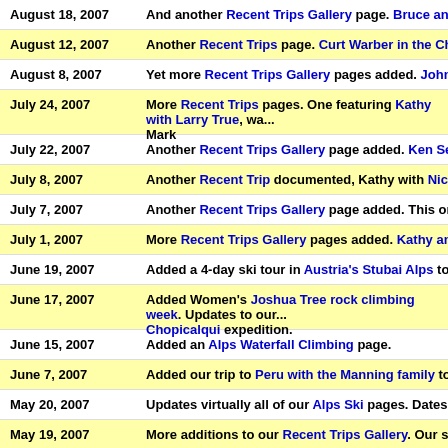August 18, 2007 — And another Recent Trips Gallery page. Bruce and Mike Beaman in...
August 12, 2007 — Another Recent Trips page. Curt Warber in the Chamonix area.
August 8, 2007 — Yet more Recent Trips Gallery pages added. John Hornbaker in the...
July 24, 2007 — More Recent Trips pages. One featuring Kathy with Larry True, wa... Mark
July 22, 2007 — Another Recent Trips Gallery page added. Ken Seamon was back t...
July 8, 2007 — Another Recent Trip documented, Kathy with Nick Grossoehme in...
July 7, 2007 — Another Recent Trips Gallery page added. This one with Susan Lo...
July 1, 2007 — More Recent Trips Gallery pages added. Kathy and Mark in Les Ho...
June 19, 2007 — Added a 4-day ski tour in Austria's Stubai Alps to our spring 2008...
June 17, 2007 — Added Women's Joshua Tree rock climbing week. Updates to our... Chopicalqui expedition.
June 15, 2007 — Added an Alps Waterfall Climbing page.
June 7, 2007 — Added our trip to Peru with the Manning family to our Recent Trips...
May 20, 2007 — Updates virtually all of our Alps Ski pages. Dates for 2008 and oth...
May 19, 2007 — More additions to our Recent Trips Gallery. Our second Haute Rou...
May 13, 2007 — Updates our contact info (We are moving to France!), our Calenda...